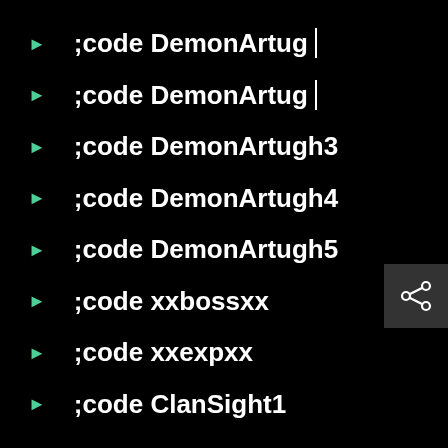;code DemonArtugh1
;code DemonArtugh2
;code DemonArtugh3
;code DemonArtugh4
;code DemonArtugh5
;code xxbossxx
;code xxexpxx
;code ClanSight1